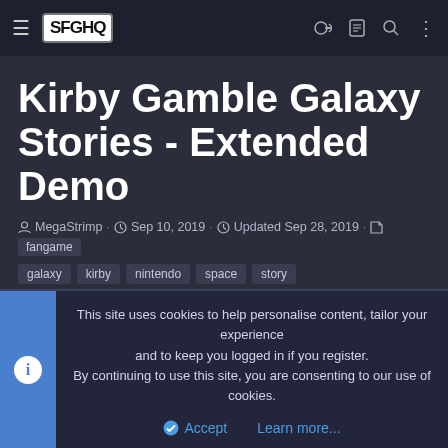SFGHQ — navigation bar with hamburger menu, logo, and icons
Kirby Gamble Galaxy Stories - Extended Demo
MegaStrimp · Sep 10, 2019 · Updated Sep 28, 2019 · fangame galaxy kirby nintendo space story
< SAGE 2019 [Archive]
OVERVIEW    REVIEWS (2)
This site uses cookies to help personalise content, tailor your experience and to keep you logged in if you register.
By continuing to use this site, you are consenting to our use of cookies.
Accept    Learn more...